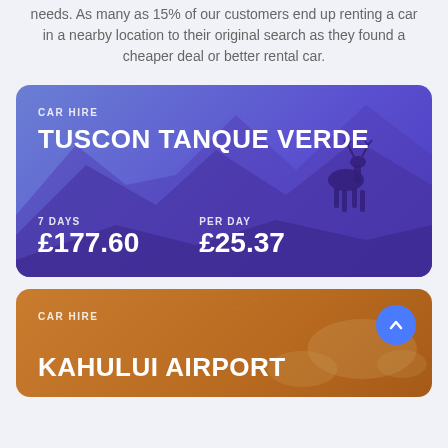needs. As many as 15% of our customers end up renting a car in a nearby location to their original search as they found a cheaper deal or better rental car.
[Figure (infographic): Blue gradient card showing car hire offer for Tuscon Tanque Verde: 7 days £177.60, per day £25.37, with mountain and deer silhouette illustration]
[Figure (infographic): Orange gradient card showing car hire offer for Kahului Airport, partially visible at bottom of page, with desert landscape illustration and scroll-up button]